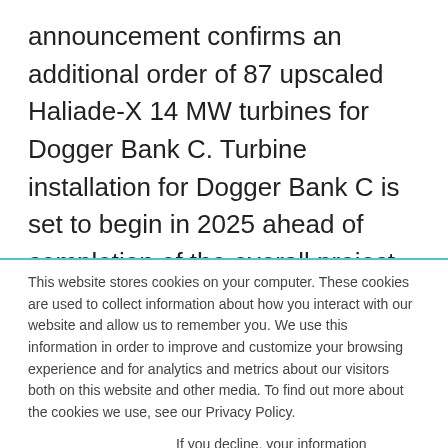announcement confirms an additional order of 87 upscaled Haliade-X 14 MW turbines for Dogger Bank C. Turbine installation for Dogger Bank C is set to begin in 2025 ahead of completion of the overall project in 2026. The contracts mark the first commercial commitment for this ground-breaking turbine, as well as the first time ever a 14MW Haliade-X will be installed in the world. One spin of the Haliade-X can generate
This website stores cookies on your computer. These cookies are used to collect information about how you interact with our website and allow us to remember you. We use this information in order to improve and customize your browsing experience and for analytics and metrics about our visitors both on this website and other media. To find out more about the cookies we use, see our Privacy Policy.
If you decline, your information won’t be tracked when you visit this website. A single cookie will be used in your browser to remember your preference not to be tracked.
Accept
Decline